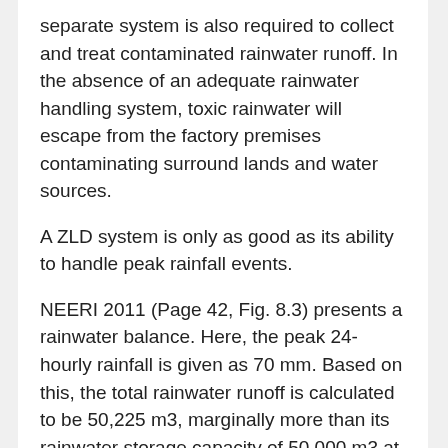separate system is also required to collect and treat contaminated rainwater runoff. In the absence of an adequate rainwater handling system, toxic rainwater will escape from the factory premises contaminating surround lands and water sources.
A ZLD system is only as good as its ability to handle peak rainfall events.
NEERI 2011 (Page 42, Fig. 8.3) presents a rainwater balance. Here, the peak 24-hourly rainfall is given as 70 mm. Based on this, the total rainwater runoff is calculated to be 50,225 m3, marginally more than its rainwater storage capacity of 50,000 m3 at the time. The storage capacity has reportedly been increased to 80,000 m3 since 2011.